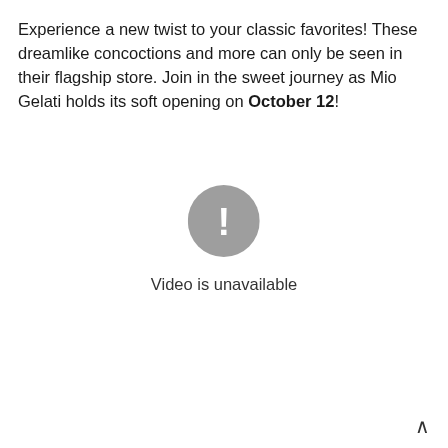Experience a new twist to your classic favorites! These dreamlike concoctions and more can only be seen in their flagship store. Join in the sweet journey as Mio Gelati holds its soft opening on October 12!
[Figure (other): Grey circle with white exclamation mark icon indicating an error or unavailable state, with text 'Video is unavailable' below it]